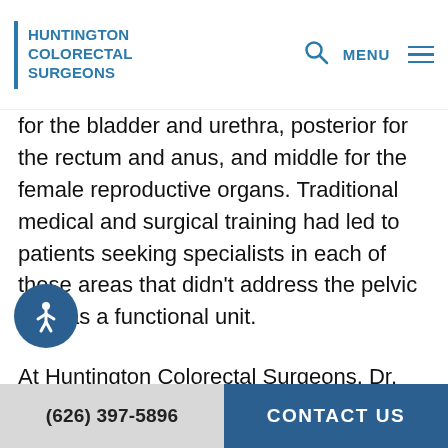HUNTINGTON COLORECTAL SURGEONS
for the bladder and urethra, posterior for the rectum and anus, and middle for the female reproductive organs. Traditional medical and surgical training had led to patients seeking specialists in each of these areas that didn't address the pelvic floor as a functional unit.
At Huntington Colorectal Surgeons, Dr. Howard Kaufman, Dr. Gabriel Akopian, and Dr. Juliane Golan have been working with other pelvic floor
(626) 397-5896   CONTACT US